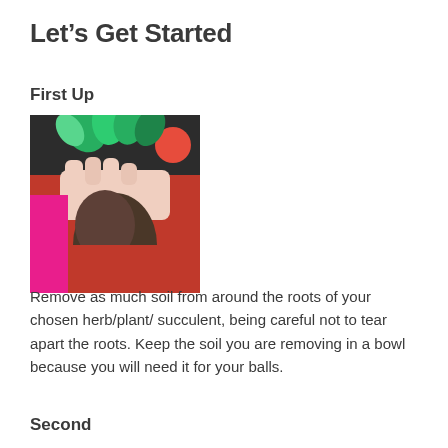Let's Get Started
First Up
[Figure (photo): A gloved hand holding a small herb/plant by its roots, with soil attached to the roots, held over a red container in the background.]
Remove as much soil from around the roots of your chosen herb/plant/ succulent, being careful not to tear apart the roots. Keep the soil you are removing in a bowl because you will need it for your balls.
Second